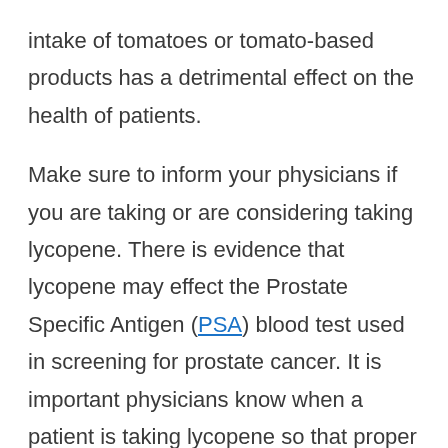intake of tomatoes or tomato-based products has a detrimental effect on the health of patients.
Make sure to inform your physicians if you are taking or are considering taking lycopene. There is evidence that lycopene may effect the Prostate Specific Antigen (PSA) blood test used in screening for prostate cancer. It is important physicians know when a patient is taking lycopene so that proper decisions are made based on the PSA test results.
Learn more about lycopene from the American Cancer Society.